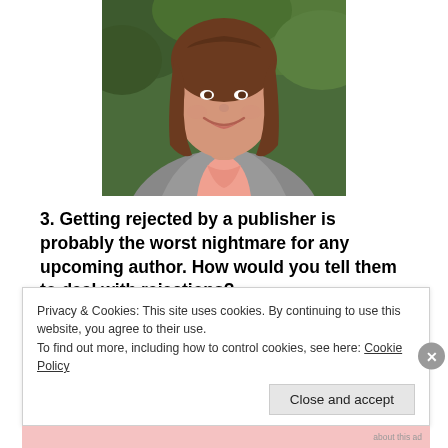[Figure (photo): Headshot photo of a smiling young woman with brown hair wearing a grey blazer over a salmon/peach top, photographed outdoors with green foliage background]
3. Getting rejected by a publisher is probably the worst nightmare for any upcoming author. How would you tell them to deal with rejections?
Privacy & Cookies: This site uses cookies. By continuing to use this website, you agree to their use.
To find out more, including how to control cookies, see here: Cookie Policy
Close and accept